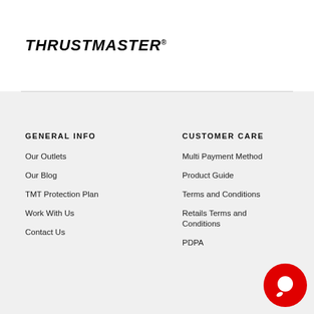[Figure (logo): THRUSTMASTER logo in bold italic black text with registered trademark symbol]
GENERAL INFO
Our Outlets
Our Blog
TMT Protection Plan
Work With Us
Contact Us
CUSTOMER CARE
Multi Payment Method
Product Guide
Terms and Conditions
Retails Terms and Conditions
PDPA
[Figure (illustration): Red circular chat/support button with white speech bubble icon in bottom-right corner]